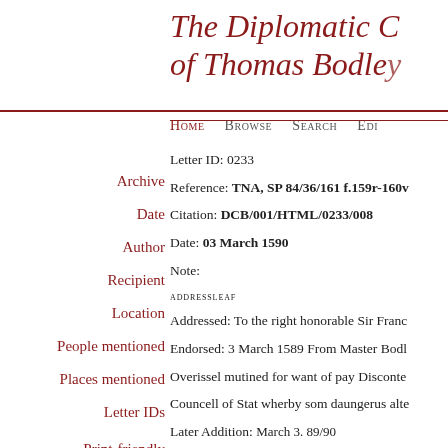The Diplomatic Correspondence of Thomas Bodley
Home Browse Search Edit
Letter ID: 0233
Reference: TNA, SP 84/36/161 f.159r-160v
Citation: DCB/001/HTML/0233/008
Date: 03 March 1590
Note:
ADDRESSLEAF
Addressed: To the right honorable Sir Franc
Endorsed: 3 March 1589 From Master Bodl
Overissel mutined for want of pay Disconte
Councell of Stat wherby som daungerus alte
Later Addition: March 3. 89/90
Archive
Date
Author
Recipient
Location
People mentioned
Places mentioned
Letter IDs
Print-friendly